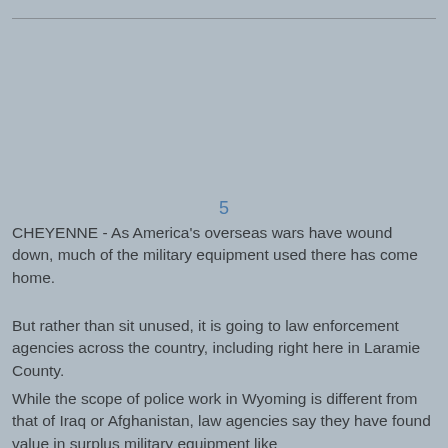[Figure (photo): Large image area at top of page (photo placeholder with gray background)]
5
CHEYENNE - As America's overseas wars have wound down, much of the military equipment used there has come home.
But rather than sit unused, it is going to law enforcement agencies across the country, including right here in Laramie County.
While the scope of police work in Wyoming is different from that of Iraq or Afghanistan, law agencies say they have found value in surplus military equipment like